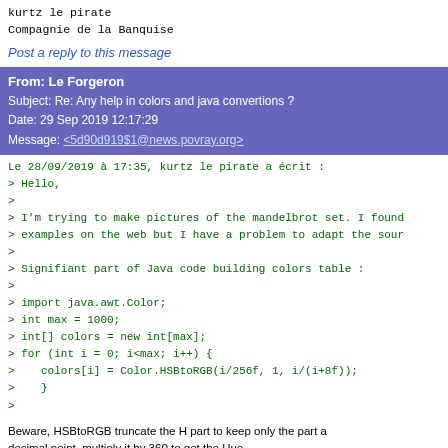kurtz le pirate
Compagnie de la Banquise
Post a reply to this message
From: Le Forgeron
Subject: Re: Any help in colors and java convertions ?
Date: 29 Sep 2019 12:17:29
Message: <5d90d919$1@news.povray.org>
Le 28/09/2019 à 17:35, kurtz le pirate a écrit :
> Hello,
>
> I'm trying to make pictures of the mandelbrot set. I found
> examples on the web but I have a problem to adapt the sour
>
> Signifiant part of Java code building colors table :
>
> import java.awt.Color;
> int max = 1000;
> int[] colors = new int[max];
> for (int i = 0; i<max; i++) {
>    colors[i] = Color.HSBtoRGB(i/256f, 1, i/(i+8f));
>    }
>
Beware, HSBtoRGB truncate the H part to keep only the part a decimal point, multiply it by 360 to get the Hue.
> Displaying "colors" table give :
>     0 : 0.000000 0.000000 0.000000